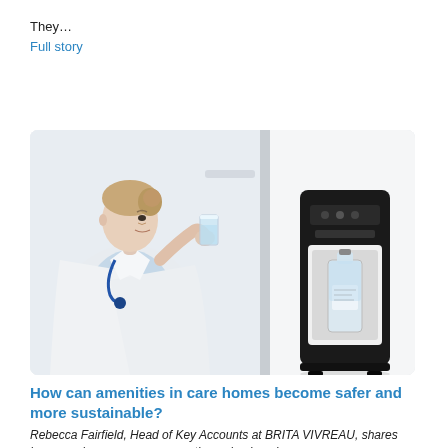They...
Full story
[Figure (photo): A woman in a white lab coat drinking a glass of water, next to a black water dispenser unit with a glass bottle inside, on a white background.]
How can amenities in care homes become safer and more sustainable?
Rebecca Fairfield, Head of Key Accounts at BRITA VIVREAU, shares how care homescan ensure optimum hygiene in